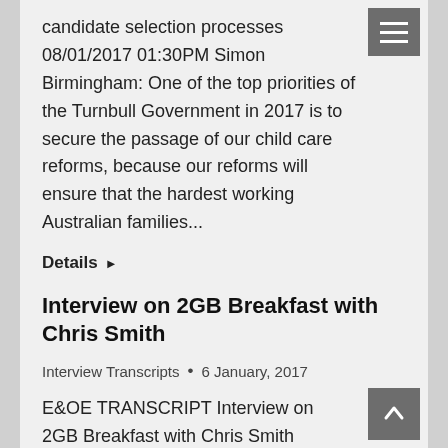candidate selection processes 08/01/2017 01:30PM Simon Birmingham: One of the top priorities of the Turnbull Government in 2017 is to secure the passage of our child care reforms, because our reforms will ensure that the hardest working Australian families...
Details ▶
Interview on 2GB Breakfast with Chris Smith
Interview Transcripts • 6 January, 2017
E&OE TRANSCRIPT Interview on 2GB Breakfast with Chris Smith Topics: AAT decision on Malek Fahd Islamic School funding 06/01/2017 07:15AM Chris Smith: I mentioned to you earlier the complete